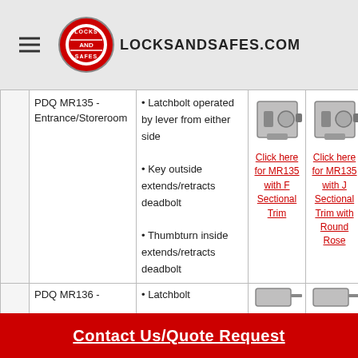LOCKSANDSAFES.COM
|  | Product | Features | Image 1 | Image 2 |
| --- | --- | --- | --- | --- |
|  | PDQ MR135 - Entrance/Storeroom | • Latchbolt operated by lever from either side
• Key outside extends/retracts deadbolt
• Thumbturn inside extends/retracts deadbolt | Click here for MR135 with F Sectional Trim | Click here for MR135 with J Sectional Trim with Round Rose |
|  | PDQ MR136 - | • Latchbolt |  |  |
Contact Us/Quote Request